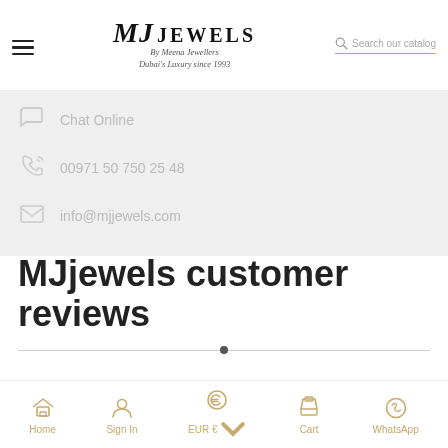[Figure (logo): MJ Jewels by Meena Jewellers logo with hamburger menu and search bar]
Chat Online
00971 50 750 25 48
info@mjjewels.com
MJjewels customer reviews
Home  Sign In  EUR €  Cart  WhatsApp